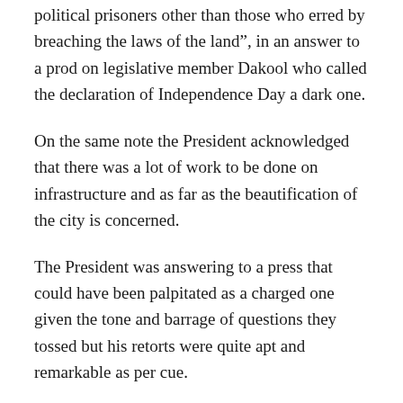political prisoners other than those who erred by breaching the laws of the land”, in an answer to a prod on legislative member Dakool who called the declaration of Independence Day a dark one.
On the same note the President acknowledged that there was a lot of work to be done on infrastructure and as far as the beautification of the city is concerned.
The President was answering to a press that could have been palpitated as a charged one given the tone and barrage of questions they tossed but his retorts were quite apt and remarkable as per cue.
The venue and occasion did not blend with the queries, a tinge in the pros and cons of democracy for an emerging country.
As the 30,000 pupil and student candidates for the primary and secondary national exams sat for their papers, the Head of State H.E. Musa Bihi Abdi made the unprecedented move of distributing